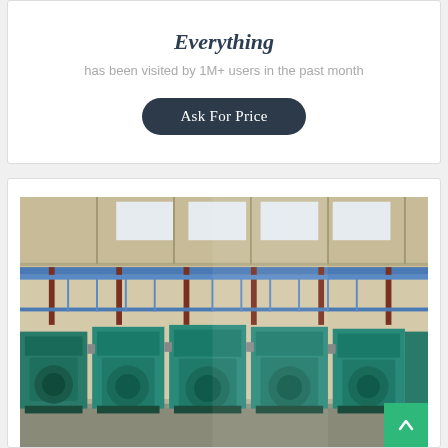Everything
has been visited by 1M+ users in the past month
Ask For Price
[Figure (photo): Industrial factory floor with large green machinery (rolling mills or similar heavy equipment) arranged in rows, with elevated walkways/gantries visible above, industrial ceiling with skylights, concrete floor.]